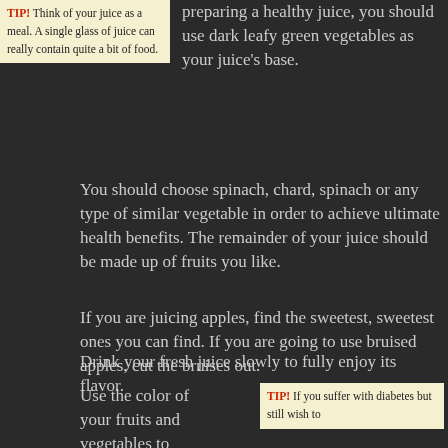TIP! Think of your juice as a meal. A single glass of juice can really contain quite a bit of food.
preparing a healthy juice, you should use dark leafy green vegetables as your juice's base. You should choose spinach, chard, spinach or any type of similar vegetable in order to achieve ultimate health benefits. The remainder of your juice should be made up of fruits you like.
If you are juicing apples, find the sweetest, sweetest ones you can find. If you are going to use bruised apples, cut the bruises out.
Drink your fresh juice slowly to fully enjoy its flavor.
Use the color of your fruits and vegetables to help you figure out which nutrients they
TIP! If you suffer with diabetes but still wish to